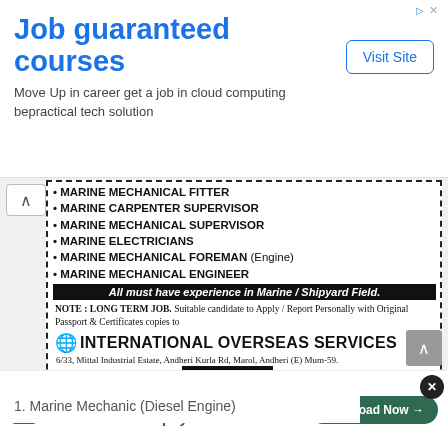[Figure (screenshot): Ad banner: 'Job guaranteed courses' with subtitle 'Move Up in career get a job in cloud computing bepractical tech solution' and a 'Visit Site' button]
[Figure (screenshot): Job advertisement box for International Overseas Services listing marine positions: Marine Mechanical Fitter, Marine Carpenter Supervisor, Marine Mechanical Supervisor, Marine Electricians, Marine Mechanical Foreman (Engine), Marine Mechanical Engineer. All must have experience in Marine/Shipyard Field. Note: LONG TERM JOB. Address: 6/33 Mittal Industrial Estate, Andheri Kurla Rd, Marol, Andheri (E) Mum-59. Email: recruit@iosr.com DM No.: 976108. Reg. no: B-0115/MUM/PER/1000+/5/201/1984]
Job Positions:
1. Marine Mechanic (Diesel Engine)
2. [partially obscured]
3. Marine Plumber
[Figure (screenshot): Tally app advertisement: 'Fast credit card payoff' with 'Download Now' button]